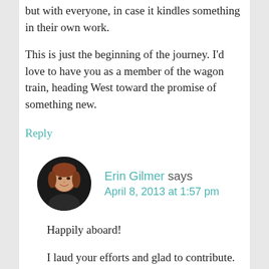but with everyone, in case it kindles something in their own work.
This is just the beginning of the journey. I'd love to have you as a member of the wagon train, heading West toward the promise of something new.
Reply
[Figure (photo): Circular avatar photo of Erin Gilmer, a woman with reddish hair, smiling, dark background]
Erin Gilmer says
April 8, 2013 at 1:57 pm
Happily aboard!
I laud your efforts and glad to contribute. Thank you for listening to